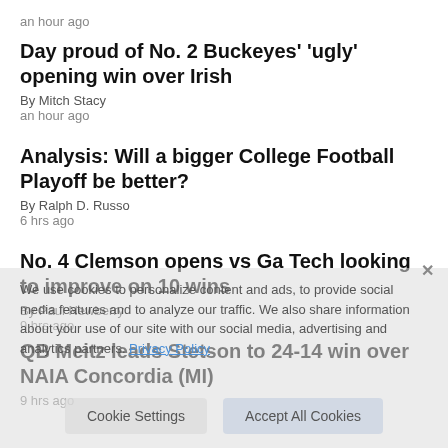an hour ago
Day proud of No. 2 Buckeyes' 'ugly' opening win over Irish
By Mitch Stacy
an hour ago
Analysis: Will a bigger College Football Playoff be better?
By Ralph D. Russo
6 hrs ago
No. 4 Clemson opens vs Ga Tech looking to improve on 10 wins
By Paul Newberry
9 hrs ago
QB Meitz leads Stetson to 24-14 win over NAIA Concordia (MI)
9 hrs ago